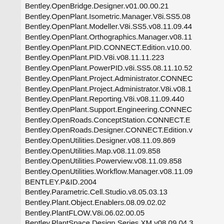Bentley.OpenBridge.Designer.v01.00.00.21
Bentley.OpenPlant.Isometric.Manager.V8i.SS5.08
Bentley.OpenPlant.Modeller.V8i.SS5.v08.11.09.44
Bentley.OpenPlant.Orthographics.Manager.v08.11
Bentley.OpenPlant.PID.CONNECT.Edition.v10.00.
Bentley.OpenPlant.PID.V8i.v08.11.11.223
Bentley.OpenPlant.PowerPID.v8i.SS5.08.11.10.52
Bentley.OpenPlant.Project.Administrator.CONNEC
Bentley.OpenPlant.Project.Administrator.V8i.v08.1
Bentley.OpenPlant.Reporting.V8i.v08.11.09.440
Bentley.OpenPlant.Support.Engineering.CONNEC
Bentley.OpenRoads.ConceptStation.CONNECT.E
Bentley.OpenRoads.Designer.CONNECT.Edition.v
Bentley.OpenUtilities.Designer.v08.11.09.869
Bentley.OpenUtilities.Map.v08.11.09.858
Bentley.OpenUtilities.Powerview.v08.11.09.858
Bentley.OpenUtilities.Workflow.Manager.v08.11.09
BENTLEY.P&ID.2004
Bentley.Parametric.Cell.Studio.v8.05.03.13
Bentley.Plant.Object.Enablers.08.09.02.02
Bentley.PlantFLOW.V8i.06.02.00.05
Bentley.PlantSpace.Design.Series.XM.v08.09.04.3
Bentley.PlantWise.XM.v8.09.04.00
Bentley.Pointools.V8i.02.00.01.04
Bentley.PondPack.v10.01.04.00